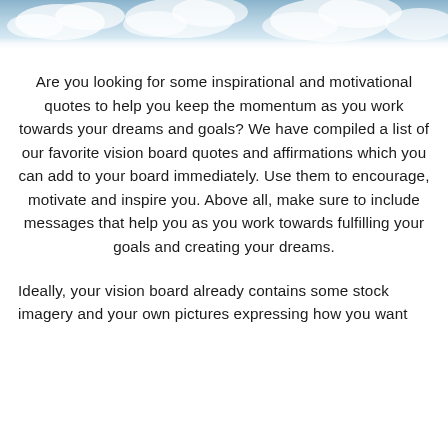[Figure (photo): Sky with clouds background image at top of page]
Are you looking for some inspirational and motivational quotes to help you keep the momentum as you work towards your dreams and goals? We have compiled a list of our favorite vision board quotes and affirmations which you can add to your board immediately. Use them to encourage, motivate and inspire you. Above all, make sure to include messages that help you as you work towards fulfilling your goals and creating your dreams.
Ideally, your vision board already contains some stock imagery and your own pictures expressing how you want to feel and what you want to achieve in the future.